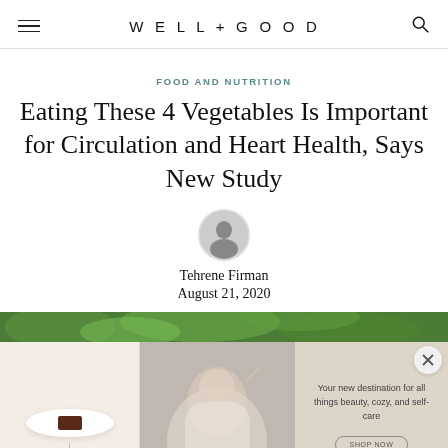WELL+GOOD
FOOD AND NUTRITION
Eating These 4 Vegetables Is Important for Circulation and Heart Health, Says New Study
Tehrene Firman
August 21, 2020
[Figure (photo): Green foliage background image strip at bottom of article header]
[Figure (advertisement): Well+Good Shop advertisement banner with three panels: left panel showing a dish with product, center panel showing a woman touching her hair, right panel with text 'Your new destination for all things beauty, cozy, and self-care' and a shop now button]